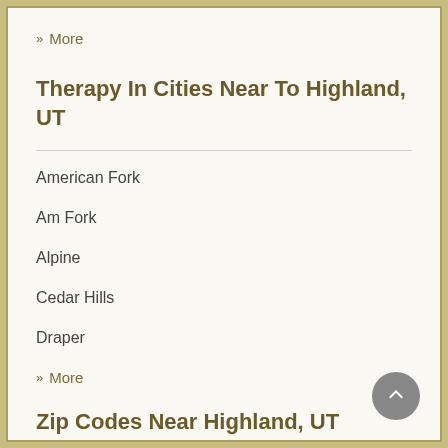» More
Therapy In Cities Near To Highland, UT
American Fork
Am Fork
Alpine
Cedar Hills
Draper
» More
Zip Codes Near Highland, UT